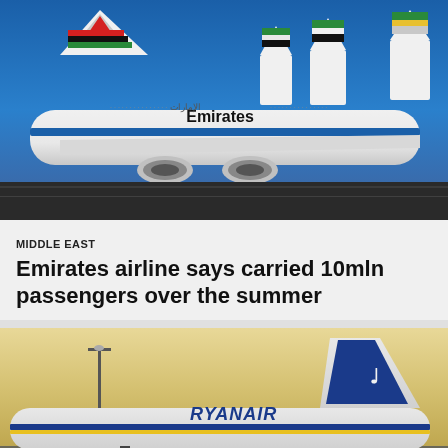[Figure (photo): Emirates A380 aircraft on tarmac at airport, with multiple Emirates planes visible in background, blue sky, characteristic red-white-green tail livery]
MIDDLE EAST
Emirates airline says carried 10mln passengers over the summer
[Figure (photo): Ryanair aircraft on tarmac at dusk/sunset, tail fin and partial fuselage visible with RYANAIR text, warm golden sky background]